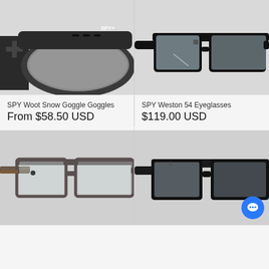[Figure (photo): SPY ski/snow goggle with dark lens and black frame, SPY logo visible on strap]
[Figure (photo): SPY Weston 54 eyeglasses with black rectangular frame and clear lenses]
SPY Woot Snow Goggle Goggles
From $58.50 USD
SPY Weston 54 Eyeglasses
$119.00 USD
[Figure (photo): Metal frame eyeglasses with dark brown/gunmetal finish and clear lenses]
[Figure (photo): Black rectangular frame eyeglasses with clear lenses, chat bubble icon overlay in corner]